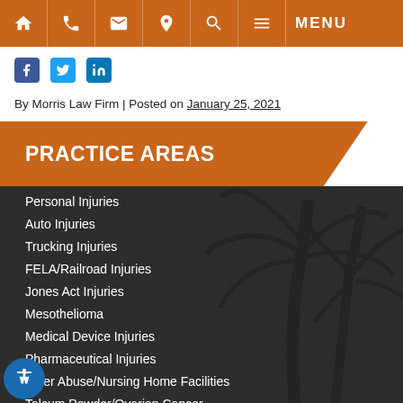Navigation bar with home, phone, email, location, search, menu icons
[Figure (other): Social media icons: Facebook, Twitter, LinkedIn]
By Morris Law Firm | Posted on January 25, 2021
PRACTICE AREAS
Personal Injuries
Auto Injuries
Trucking Injuries
FELA/Railroad Injuries
Jones Act Injuries
Mesothelioma
Medical Device Injuries
Pharmaceutical Injuries
Elder Abuse/Nursing Home Facilities
Talcum Powder/Ovarian Cancer
Slip and Fall/Trip and Fall